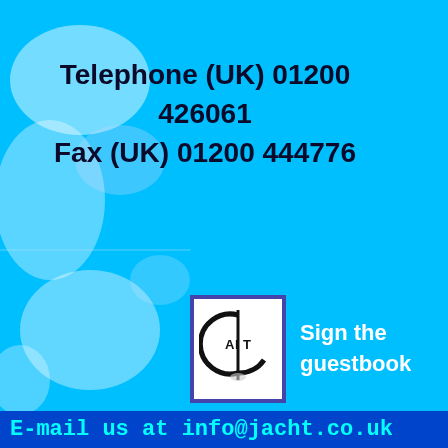Telephone (UK) 01200 426061
Fax (UK) 01200 444776
[Figure (logo): Circular logo with letters AIT inside a C-shape, mast/sail icon, blue border, white background]
Sign the guestbook
E-mail us at info@jacht.co.uk